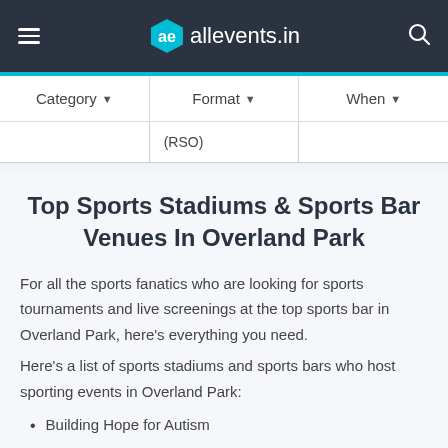allevents.in
| Category ▼ | Format ▼ | When ▼ |
| --- | --- | --- |
|  | (RSO) |  |
Top Sports Stadiums & Sports Bar Venues In Overland Park
For all the sports fanatics who are looking for sports tournaments and live screenings at the top sports bar in Overland Park, here's everything you need.
Here's a list of sports stadiums and sports bars who host sporting events in Overland Park:
Building Hope for Autism
Bier Station